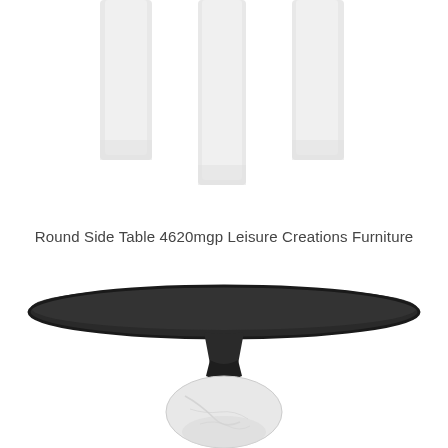[Figure (photo): Close-up of white furniture legs (table or chair) on a white background, cropped view showing lower portion of legs]
Round Side Table 4620mgp Leisure Creations Furniture
[Figure (photo): Close-up of a round side table with a dark black circular top and a marble base/pedestal, photographed on white background]